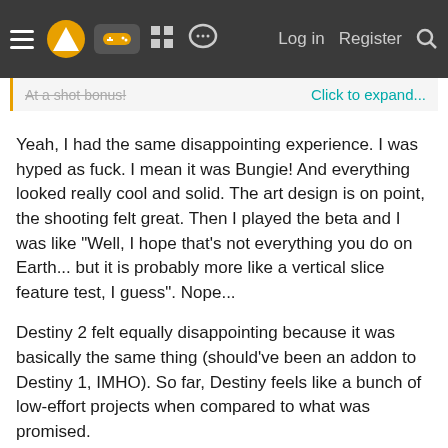Navigation bar with menu, logo, gamepad icon, grid icon, chat icon, Log in, Register, Search
At a shot bonus! Click to expand...
Yeah, I had the same disappointing experience. I was hyped as fuck. I mean it was Bungie! And everything looked really cool and solid. The art design is on point, the shooting felt great. Then I played the beta and I was like "Well, I hope that's not everything you do on Earth... but it is probably more like a vertical slice feature test, I guess". Nope...
Destiny 2 felt equally disappointing because it was basically the same thing (should've been an addon to Destiny 1, IMHO). So far, Destiny feels like a bunch of low-effort projects when compared to what was promised.
And what was really untypical for me was that I gave the game many chances to like it. I actually wanted to like it but just couldn't get over what they delivered and what they said they would deliver. Destiny 1 and 2 were my biggest disappointments this gen. And fucking hell... I'm doing it again. I can't say in my mind that the next Destiny will cut it...